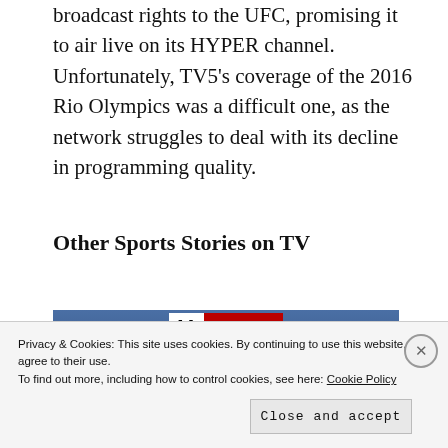broadcast rights to the UFC, promising it to air live on its HYPER channel. Unfortunately, TV5’s coverage of the 2016 Rio Olympics was a difficult one, as the network struggles to deal with its decline in programming quality.
Other Sports Stories on TV
[Figure (photo): Photo showing a Hanes advertisement banner/sign in red and white at top, with people (appears to be at a sports event) visible below]
Privacy & Cookies: This site uses cookies. By continuing to use this website, you agree to their use.
To find out more, including how to control cookies, see here: Cookie Policy